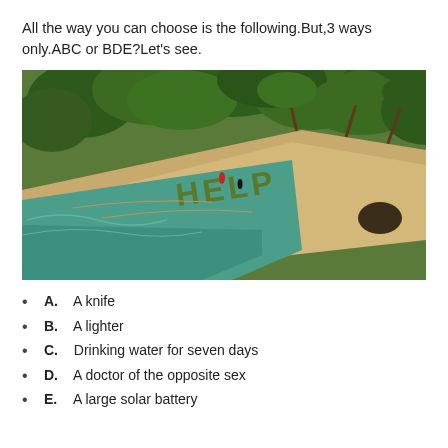All the way you can choose is the following.But,3 ways only.ABC or BDE?Let's see.
[Figure (photo): Aerial view of a tropical island beach with palm trees and dense jungle. The word HELP is spelled out in large letters on the sandy beach. Two small figures are visible on the beach near the water's edge.]
A.  A knife
B.  A lighter
C.  Drinking water for seven days
D.  A doctor of the opposite sex
E.  A large solar battery